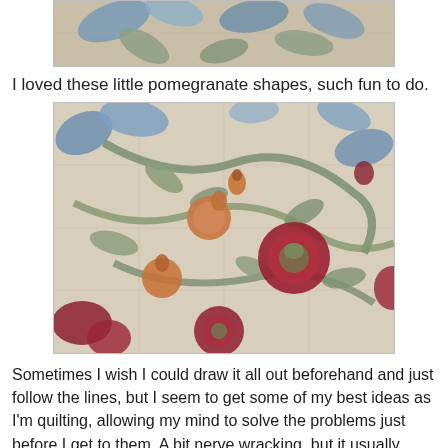[Figure (photo): Close-up of a quilt with floral and leaf appliqué patterns in blue, green and cream colors — partial view at top of page]
I loved these little pomegranate shapes, such fun to do.
[Figure (photo): Detailed close-up of a quilt showing appliquéd pomegranate and floral shapes in red, orange, blue and green on a cream quilted background]
Sometimes I wish I could draw it all out beforehand and just follow the lines, but I seem to get some of my best ideas as I'm quilting, allowing my mind to solve the problems just before I get to them. A bit nerve wracking, but it usually works out well.
I'm glad Sharon trusted me enough to quilt this, and I'm glad that she entered it in the show as I never seem to get around